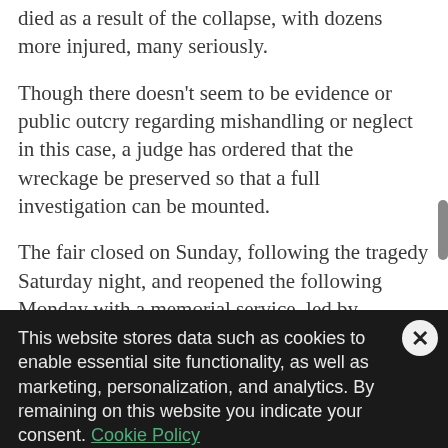died as a result of the collapse, with dozens more injured, many seriously.
Though there doesn't seem to be evidence or public outcry regarding mishandling or neglect in this case, a judge has ordered that the wreckage be preserved so that a full investigation can be mounted.
The fair closed on Sunday, following the tragedy Saturday night, and reopened the following Monday with a memorial service, led by Indiana's Governor Mitch Daniels.
This website stores data such as cookies to enable essential site functionality, as well as marketing, personalization, and analytics. By remaining on this website you indicate your consent. Cookie Policy